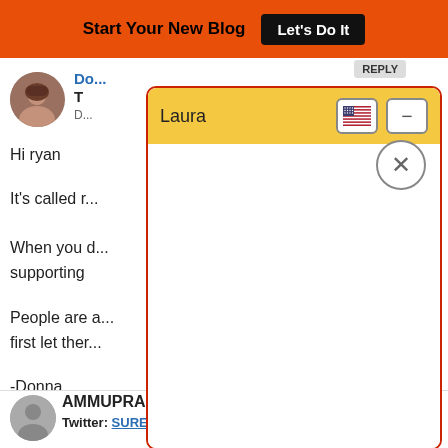Start Your New Blog  Let's Do It
[Figure (photo): Female blogger avatar photo, circular cropped]
D... (author name, partially hidden)
T... (partially hidden)
D... (date, partially hidden)
Hi ryan
It's called r...
When you d...
supporting
People are a...
first let ther...
-Donna
Donna Me...
for your B...
[Figure (screenshot): Modal dialog popup with orange/yellow title bar labeled 'Laura', US flag icon, minus button, and a close (X) button. The modal body is white/empty.]
[Figure (photo): Generic grey avatar circle for AMMUPRABHA commenter]
AMMUPRABHA
Twitter: SURESH
Powered By Steady Stream Leads